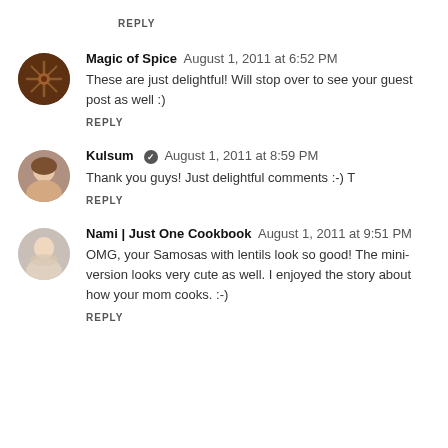REPLY
Magic of Spice  August 1, 2011 at 6:52 PM
These are just delightful! Will stop over to see your guest post as well :)
REPLY
Kulsum  August 1, 2011 at 8:59 PM
Thank you guys! Just delightful comments :-) T
REPLY
Nami | Just One Cookbook  August 1, 2011 at 9:51 PM
OMG, your Samosas with lentils look so good! The mini-version looks very cute as well. I enjoyed the story about how your mom cooks. :-)
REPLY